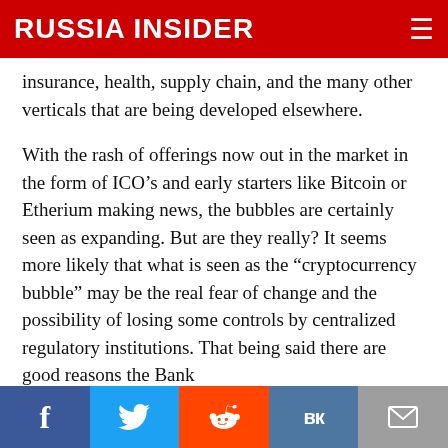RUSSIA INSIDER
insurance, health, supply chain, and the many other verticals that are being developed elsewhere.
With the rash of offerings now out in the market in the form of ICO’s and early starters like Bitcoin or Etherium making news, the bubbles are certainly seen as expanding. But are they really? It seems more likely that what is seen as the “cryptocurrency bubble” may be the real fear of change and the possibility of losing some controls by centralized regulatory institutions. That being said there are good reasons the Bank
f  [twitter]  [reddit]  VK  [email]